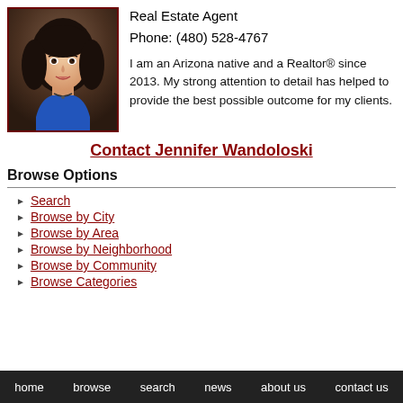[Figure (photo): Headshot photo of Jennifer Wandoloski, a woman with long dark hair wearing a blue top and necklace, against a dark background]
Real Estate Agent
Phone: (480) 528-4767
I am an Arizona native and a Realtor® since 2013. My strong attention to detail has helped to provide the best possible outcome for my clients.
Contact Jennifer Wandoloski
Browse Options
Search
Browse by City
Browse by Area
Browse by Neighborhood
Browse by Community
Browse Categories
home  browse  search  news  about us  contact us